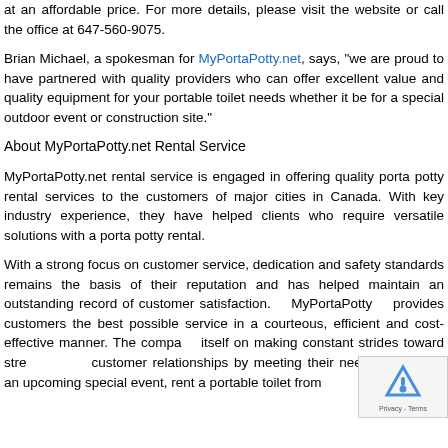at an affordable price. For more details, please visit the website or call the office at 647-560-9075.
Brian Michael, a spokesman for MyPortaPotty.net, says, "we are proud to have partnered with quality providers who can offer excellent value and quality equipment for your portable toilet needs whether it be for a special outdoor event or construction site."
About MyPortaPotty.net Rental Service
MyPortaPotty.net rental service is engaged in offering quality porta potty rental services to the customers of major cities in Canada. With key industry experience, they have helped clients who require versatile solutions with a porta potty rental.
With a strong focus on customer service, dedication and safety standards remains the basis of their reputation and has helped maintain an outstanding record of customer satisfaction. MyPortaPotty provides customers the best possible service in a courteous, efficient and cost-effective manner. The company prides itself on making constant strides toward strengthening customer relationships by meeting their needs. If there is an upcoming special event, rent a portable toilet from